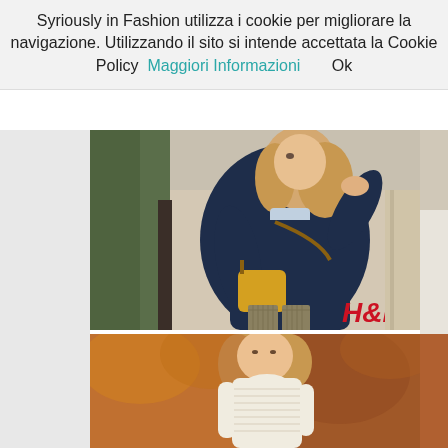Syriously in Fashion utilizza i cookie per migliorare la navigazione. Utilizzando il sito si intende accettata la Cookie Policy  Maggiori Informazioni    Ok
[Figure (photo): Fashion photo of a blonde woman wearing a navy blue oversized knit sweater, light blue shirt underneath, olive/khaki patterned trousers, carrying a yellow shoulder bag. H&M logo visible in lower right corner. Outdoor urban setting with trees and stone building.]
[Figure (photo): Fashion photo of a blonde woman wearing a cream/white top, autumn/fall background with warm orange and brown tones.]